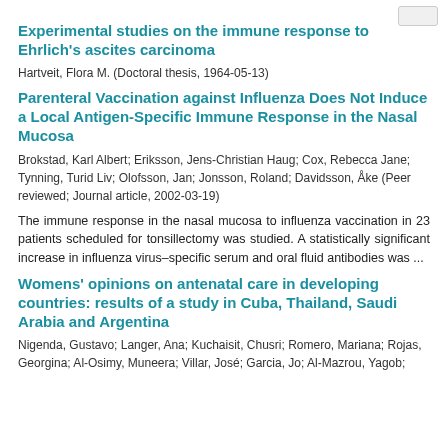Experimental studies on the immune response to Ehrlich's ascites carcinoma
Hartveit, Flora M. (Doctoral thesis, 1964-05-13)
Parenteral Vaccination against Influenza Does Not Induce a Local Antigen-Specific Immune Response in the Nasal Mucosa
Brokstad, Karl Albert; Eriksson, Jens-Christian Haug; Cox, Rebecca Jane; Tynning, Turid Liv; Olofsson, Jan; Jonsson, Roland; Davidsson, Åke (Peer reviewed; Journal article, 2002-03-19)
The immune response in the nasal mucosa to influenza vaccination in 23 patients scheduled for tonsillectomy was studied. A statistically significant increase in influenza virus–specific serum and oral fluid antibodies was ...
Womens' opinions on antenatal care in developing countries: results of a study in Cuba, Thailand, Saudi Arabia and Argentina
Nigenda, Gustavo; Langer, Ana; Kuchaisit, Chusri; Romero, Mariana; Rojas, Georgina; Al-Osimy, Muneera; Villar, José; Garcia, Jo; Al-Mazrou, Yagob;